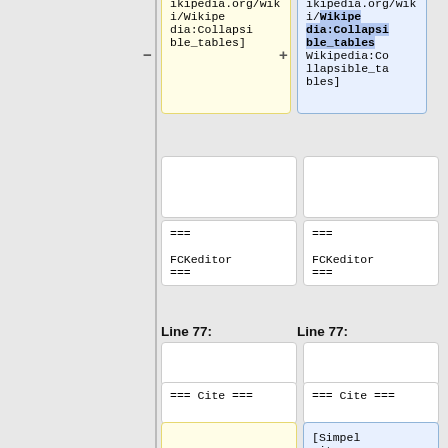[Figure (screenshot): Wikipedia diff view showing two columns of diff cells. Left column shows removed content (yellow background) and right column shows added content (blue/highlighted background). Content includes Wikipedia:Collapsible_tables links, FCKeditor section headers, Line 77 labels, Cite section headers, and a new addition '[Simpel citeren van quotes met referenties]' in the right column.]